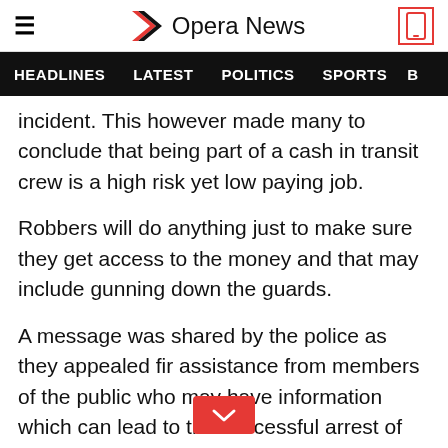Opera News
HEADLINES  LATEST  POLITICS  SPORTS
incident. This however made many to conclude that being part of a cash in transit crew is a high risk yet low paying job.
Robbers will do anything just to make sure they get access to the money and that may include gunning down the guards.
A message was shared by the police as they appealed fir assistance from members of the public who may have information which can lead to the successful arrest of the